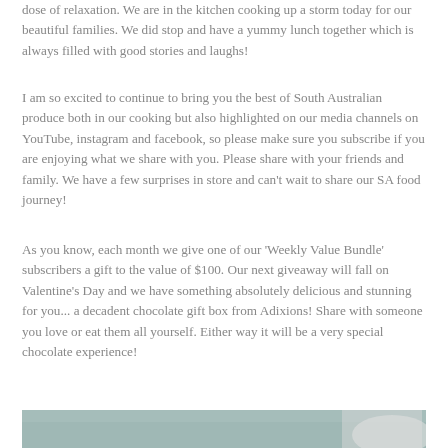dose of relaxation. We are in the kitchen cooking up a storm today for our beautiful families. We did stop and have a yummy lunch together which is always filled with good stories and laughs!
I am so excited to continue to bring you the best of South Australian produce both in our cooking but also highlighted on our media channels on YouTube, instagram and facebook, so please make sure you subscribe if you are enjoying what we share with you. Please share with your friends and family. We have a few surprises in store and can't wait to share our SA food journey!
As you know, each month we give one of our 'Weekly Value Bundle' subscribers a gift to the value of $100. Our next giveaway will fall on Valentine's Day and we have something absolutely delicious and stunning for you... a decadent chocolate gift box from Adixions! Share with someone you love or eat them all yourself. Either way it will be a very special chocolate experience!
[Figure (photo): Partial view of a photo showing a teal/blue-green surface, partially cropped at the bottom of the page]